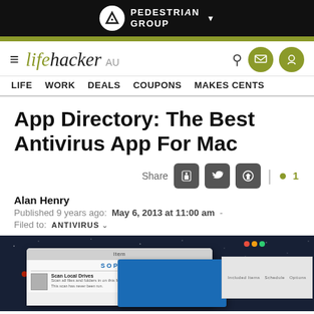PEDESTRIAN GROUP
[Figure (logo): Lifehacker AU logo with hamburger menu, search, email and profile icons]
LIFE  WORK  DEALS  COUPONS  MAKES CENTS
App Directory: The Best Antivirus App For Mac
Share [Facebook] [Twitter] [Reddit] | 💬 1
Alan Henry
Published 9 years ago:  May 6, 2013 at 11:00 am  -
Filed to:  ANTIVIRUS
[Figure (screenshot): Screenshot of Sophos Antivirus for Mac application window showing 'Scan Local Drives' interface against a dark starfield Mac desktop background]